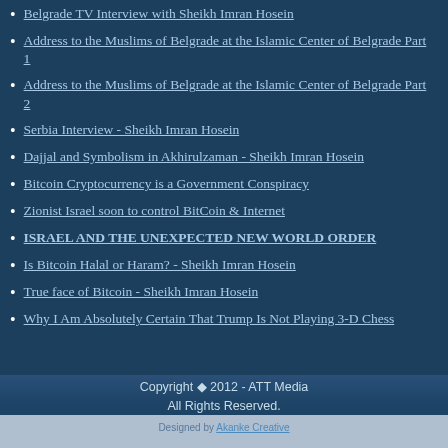Belgrade TV Interview with Sheikh Imran Hosein
Address to the Muslims of Belgrade at the Islamic Center of Belgrade Part 1
Address to the Muslims of Belgrade at the Islamic Center of Belgrade Part 2
Serbia Interview - Sheikh Imran Hosein
Dajjal and Symbolism in Akhirulzaman - Sheikh Imran Hosein
Bitcoin Cryptocurrency is a Government Conspiracy
Zionist Israel soon to control BitCoin & Internet
ISRAEL AND THE UNEXPECTED NEW WORLD ORDER
Is Bitcoin Halal or Haram? - Sheikh Imran Hosein
True face of Bitcoin - Sheikh Imran Hosein
Why I Am Absolutely Certain That Trump Is Not Playing 3-D Chess
Copyright © 2012 - ATT Media All Rights Reserved.
Designed by Akanke Creative